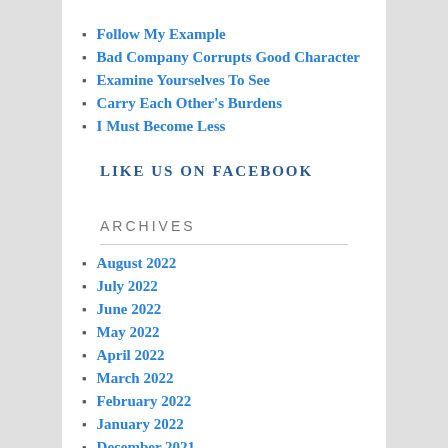Follow My Example
Bad Company Corrupts Good Character
Examine Yourselves To See
Carry Each Other's Burdens
I Must Become Less
LIKE US ON FACEBOOK
ARCHIVES
August 2022
July 2022
June 2022
May 2022
April 2022
March 2022
February 2022
January 2022
December 2021